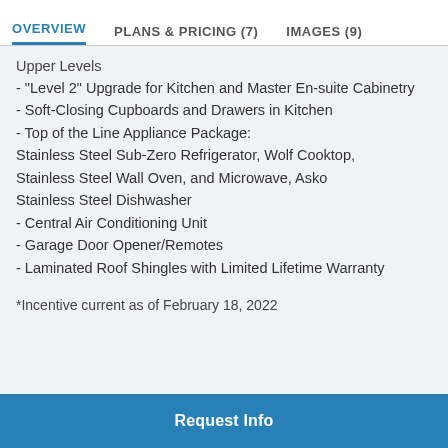OVERVIEW   PLANS & PRICING (7)   IMAGES (9)
Upper Levels
- "Level 2" Upgrade for Kitchen and Master En-suite Cabinetry
- Soft-Closing Cupboards and Drawers in Kitchen
- Top of the Line Appliance Package: Stainless Steel Sub-Zero Refrigerator, Wolf Cooktop, Stainless Steel Wall Oven, and Microwave, Asko Stainless Steel Dishwasher
- Central Air Conditioning Unit
- Garage Door Opener/Remotes
- Laminated Roof Shingles with Limited Lifetime Warranty
*Incentive current as of February 18, 2022
Request Info